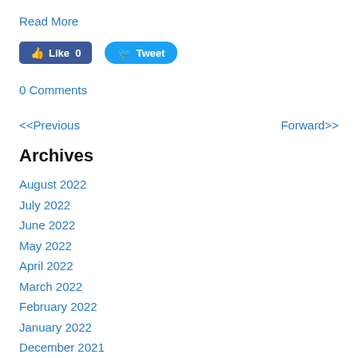Read More
[Figure (other): Facebook Like button showing 'Like 0' and Twitter Tweet button]
0 Comments
<<Previous    Forward>>
Archives
August 2022
July 2022
June 2022
May 2022
April 2022
March 2022
February 2022
January 2022
December 2021
November 2021
October 2021
September 2021